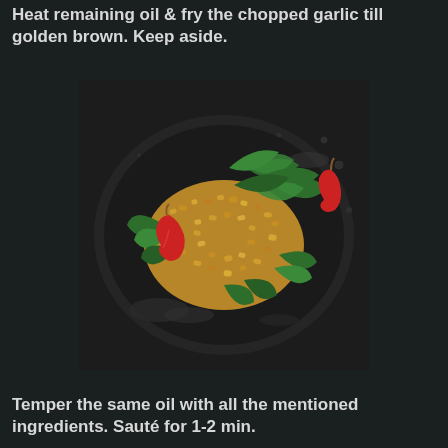Heat remaining oil & fry the chopped garlic till golden brown. Keep aside.
[Figure (photo): A dark wok or pan containing fried golden chopped garlic, green curry leaves, and red dried chili peppers sautéed in oil.]
Temper the same oil with all the mentioned ingredients. Sauté for 1-2 min.